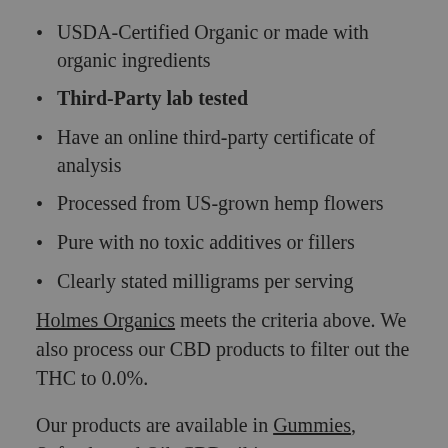USDA-Certified Organic or made with organic ingredients
Third-Party lab tested
Have an online third-party certificate of analysis
Processed from US-grown hemp flowers
Pure with no toxic additives or fillers
Clearly stated milligrams per serving
Holmes Organics meets the criteria above. We also process our CBD products to filter out the THC to 0.0%.
Our products are available in Gummies, Softgels, and Oil. CBD oil is your most versatile option as it